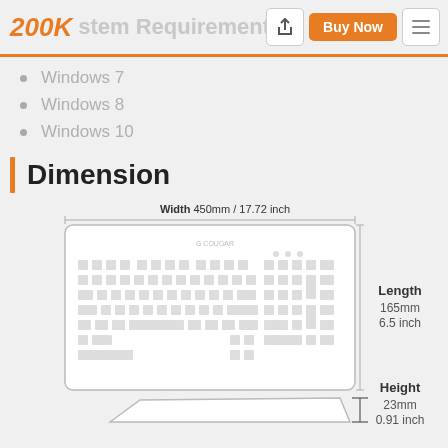200K System Requirements
Windows 7
Windows 8
Windows 10
Dimension
[Figure (engineering-diagram): Top-down engineering diagram of a keyboard showing width dimension of 450mm / 17.72 inch across the top, and length dimension of 165mm / 6.5 inch on the right side. The keyboard outline shows key layout with rounded corners and a logo in the center top area.]
[Figure (engineering-diagram): Side profile engineering diagram of keyboard showing height dimension of 23mm / 0.91 inch with a bracket on the right side.]